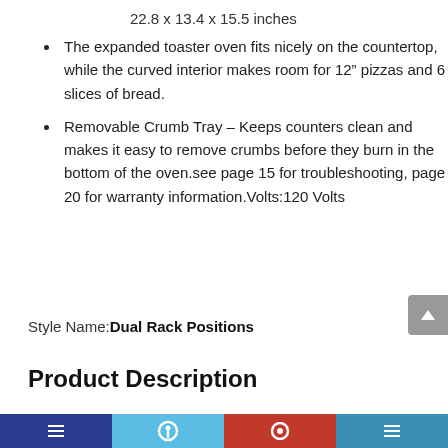22.8 x 13.4 x 15.5 inches
The expanded toaster oven fits nicely on the countertop, while the curved interior makes room for 12” pizzas and 6 slices of bread.
Removable Crumb Tray – Keeps counters clean and makes it easy to remove crumbs before they burn in the bottom of the oven.see page 15 for troubleshooting, page 20 for warranty information.Volts:120 Volts
Style Name:Dual Rack Positions
Product Description